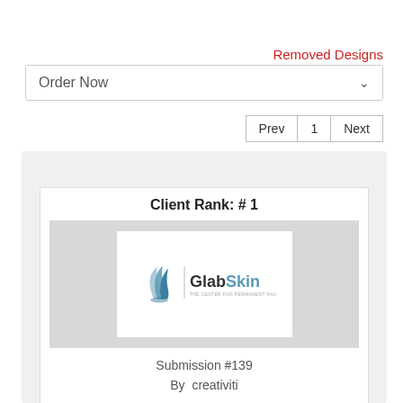Removed Designs
Order Now
Prev  1  Next
Client Rank: # 1
[Figure (logo): GlabSkin logo with a stylized hair follicle icon in blue/grey and the text 'GlabSkin' with tagline]
Submission #139
By  creativiti